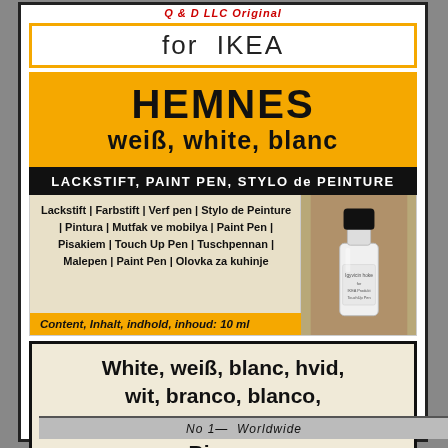Q & D LLC Original
for IKEA
HEMNES weiß, white, blanc
LACKSTIFT, PAINT PEN, STYLO de PEINTURE
Lackstift | Farbstift | Verf pen | Stylo de Peinture | Pintura | Mutfak ve mobilya | Paint Pen | Pisakiem | Touch Up Pen | Tuschpennan | Malepen | Paint Pen | Olovka za kuhinje
Content, Inhalt, indhold, inhoud: 10 ml
[Figure (photo): White paint touch-up pen bottle with black cap]
White, weiß, blanc, hvid, wit, branco, blanco, beyaz, Valkoinen, Vit, Bianca
No 1— Worldwide